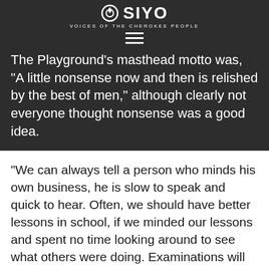typesetting.
OSIYO — VOICES OF THE CHEROKEE PEOPLE
The Playground's masthead motto was, "A little nonsense now and then is relished by the best of men," although clearly not everyone thought nonsense was a good idea.
"We can always tell a person who minds his own business, he is slow to speak and quick to hear. Often, we should have better lessons in school, if we minded our lessons and spent no time looking around to see what others were doing. Examinations will soon be here then people can see whether WE have been minding our business," wrote editor Lizzie Stinson tartly.
With statehood and sometimes fire forcing the closure of these tribal institutions (the orphanage burned down in 1903), the presses for such school newspapers ceased to run. Today we can be grateful for the...